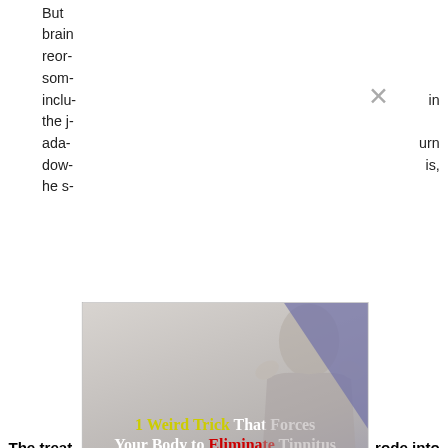But brain reor- som- inclu- the j- ada- dow- he s-
in urn is,
[Figure (screenshot): Advertisement overlay showing a woman holding her head, with text: '1 Weird Trick That Forces Your Body to Eliminate Tinnitus In As Little As 7 Days - Guaranteed!' and a 'Take me there' button. A close X button appears in the upper right of the overlay.]
The treat- ... rode into a person'... nt then listens to... all electric p... gus nerve sti-... d stimulatio-... wn the patient's... t 100 percent y-
Limit use ... e to protect yo... ed to loud noises. (R... noise- induced h... is, and may make... ndition.) But otherw... to wear